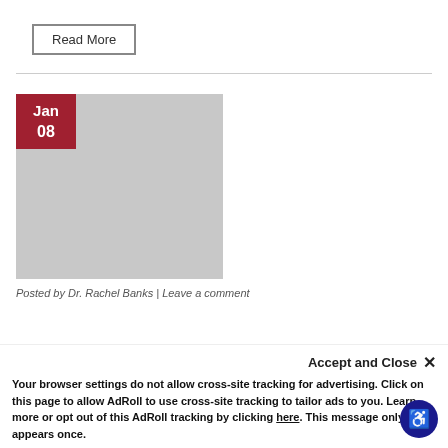Read More
[Figure (photo): Gray placeholder image block with a red date badge showing Jan 08 in the top-left corner]
Posted by Dr. Rachel Banks | Leave a comment
Accept and Close ×
Your browser settings do not allow cross-site tracking for advertising. Click on this page to allow AdRoll to use cross-site tracking to tailor ads to you. Learn more or opt out of this AdRoll tracking by clicking here. This message only appears once.